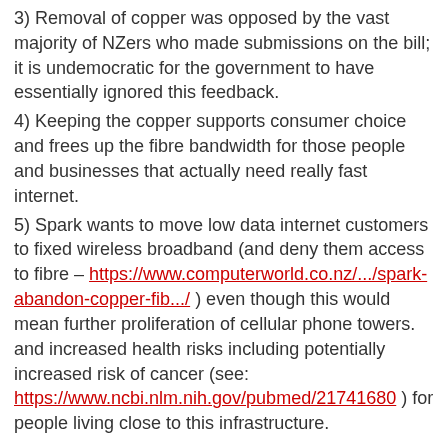3) Removal of copper was opposed by the vast majority of NZers who made submissions on the bill; it is undemocratic for the government to have essentially ignored this feedback.
4) Keeping the copper supports consumer choice and frees up the fibre bandwidth for those people and businesses that actually need really fast internet.
5) Spark wants to move low data internet customers to fixed wireless broadband (and deny them access to fibre – https://www.computerworld.co.nz/.../spark-abandon-copper-fib.../ ) even though this would mean further proliferation of cellular phone towers. and increased health risks including potentially increased risk of cancer (see: https://www.ncbi.nlm.nih.gov/pubmed/21741680 ) for people living close to this infrastructure.
Thank you for your support on this issue.
NB: If you have time, please make multiple postings of